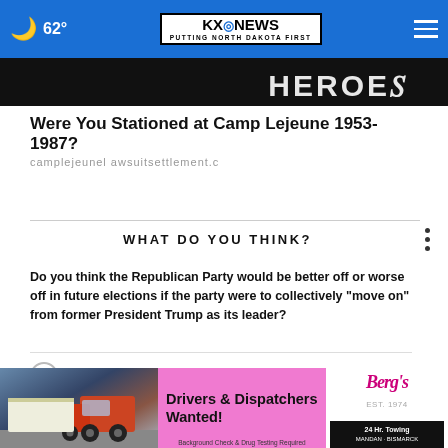🌙 62° | KXNEWS — PUTTING NORTH DAKOTA FIRST | ≡
[Figure (screenshot): Partial banner image with large text letters partially visible, dark background]
Were You Stationed at Camp Lejeune 1953-1987?
campljeunelawsuitsettlement.c
WHAT DO YOU THINK?
Do you think the Republican Party would be better off or worse off in future elections if the party were to collectively "move on" from former President Trump as its leader?
Better off
Worse off
It wouldn't make a difference
[Figure (photo): Advertisement banner: Berg's 24 Hr. Towing, Mandan - Bismarck. Shows tow truck image, text 'Drivers & Dispatchers Wanted!' on pink background, Berg's logo on right. Fine print: Background Check & Drug Testing Required.]